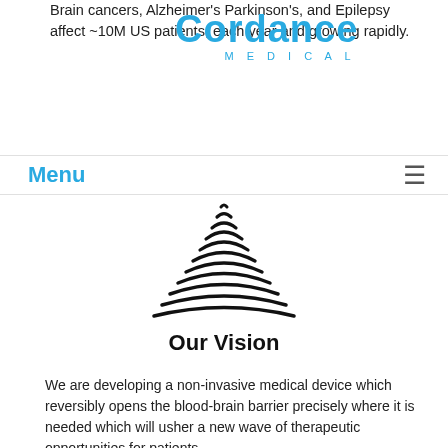Brain cancers, Alzheimer's Parkinson's, and Epilepsy affect ~10M US patients, each year and growing rapidly.
[Figure (logo): Cordance Medical logo with circular fingerprint-like icon and text 'Cordance MEDICAL' in blue]
Menu ≡
[Figure (logo): Cordance Medical cone/wave icon made of horizontal arcs forming a triangle shape]
Our Vision
We are developing a non-invasive medical device which reversibly opens the blood-brain barrier precisely where it is needed which will usher a new wave of therapeutic opportunities for patients.